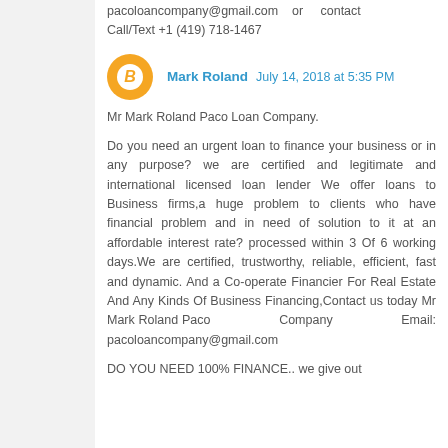pacoloancompany@gmail.com or contact Call/Text +1 (419) 718-1467
Mark Roland July 14, 2018 at 5:35 PM
Mr Mark Roland Paco Loan Company.
Do you need an urgent loan to finance your business or in any purpose? we are certified and legitimate and international licensed loan lender We offer loans to Business firms,a huge problem to clients who have financial problem and in need of solution to it at an affordable interest rate? processed within 3 Of 6 working days.We are certified, trustworthy, reliable, efficient, fast and dynamic. And a Co-operate Financier For Real Estate And Any Kinds Of Business Financing,Contact us today Mr Mark Roland Paco Company Email: pacoloancompany@gmail.com
DO YOU NEED 100% FINANCE.. we give out